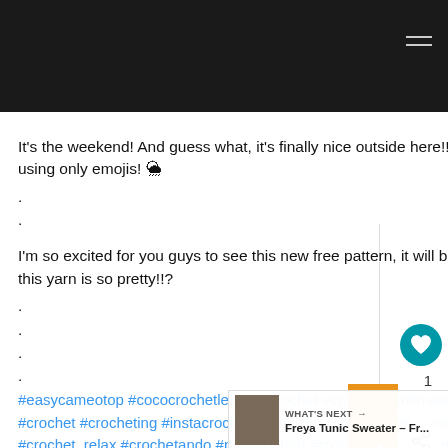It's the weekend! And guess what, it's finally nice outside here!! 🌤☀🌤 Tell me what the weather is like near you using only emojis! 🌦
.
.
I'm so excited for you guys to see this new free pattern, it will be available tomorrow via @wecrochetofficial 🧶 Isn't this yarn is so pretty!!?
.
.
.
.
#easycameotop #cococrochetlee #wecrochet #crochetersofinstagram #ilovecrochet #crochetinspiration #crochetallday #crochet #crocheting #instacrochet #knitpicks #crocheteveryday #crochetdesigner #grannysquares #crochettop #crochet_relax #crochetando #psimadethat #crochetaddict #freecrochetpattern #furlscrochet #crocheted #colorfulcrochet #knitwear #diyclothing #slowfashion #modernmaker #createmakeshare